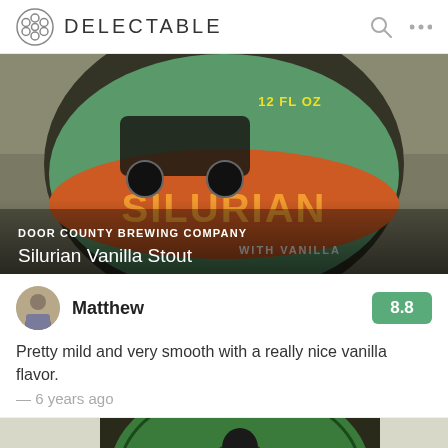DELECTABLE
[Figure (photo): Close-up photo of a Silurian Vanilla Stout bottle from Door County Brewing Company, showing green and orange label with a hot rod car graphic and text '12 FL OZ' and 'WITH VANILLA']
DOOR COUNTY BREWING COMPANY
Silurian Vanilla Stout
Matthew — 8.8
Pretty mild and very smooth with a really nice vanilla flavor.
— 6 years ago
[Figure (photo): Partial close-up photo of another beer bottle with a green circular label showing a woman with long flowing hair, partially visible brewery name ending in 'RONA']